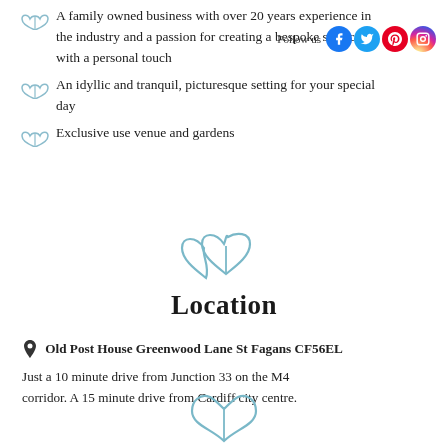A family owned business with over 20 years experience in the industry and a passion for creating a bespoke service with a personal touch
An idyllic and tranquil, picturesque setting for your special day
Exclusive use venue and gardens
[Figure (illustration): Decorative teal double heart illustration used as section divider]
Location
Old Post House Greenwood Lane St Fagans CF56EL Just a 10 minute drive from Junction 33 on the M4 corridor. A 15 minute drive from Cardiff city centre.
[Figure (illustration): Decorative teal heart illustration at bottom of page]